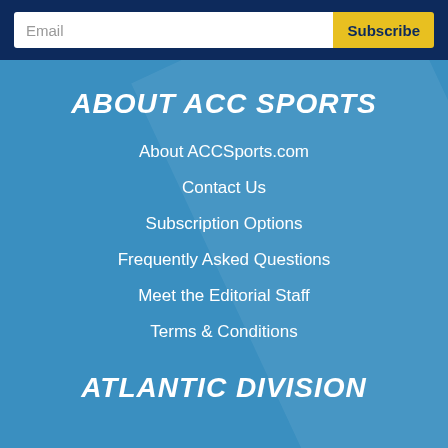Email | Subscribe
ABOUT ACC SPORTS
About ACCSports.com
Contact Us
Subscription Options
Frequently Asked Questions
Meet the Editorial Staff
Terms & Conditions
ATLANTIC DIVISION